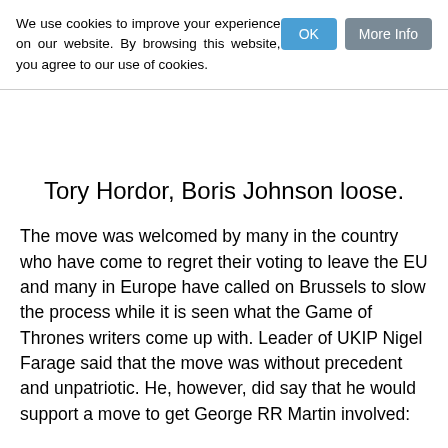We use cookies to improve your experience on our website. By browsing this website, you agree to our use of cookies.
Tory Hordor, Boris Johnson loose.
The move was welcomed by many in the country who have come to regret their voting to leave the EU and many in Europe have called on Brussels to slow the process while it is seen what the Game of Thrones writers come up with. Leader of UKIP Nigel Farage said that the move was without precedent and unpatriotic. He, however, did say that he would support a move to get George RR Martin involved:
He would come up with a plot where all